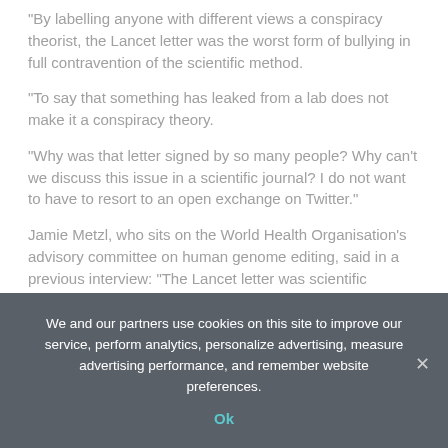"By labelling anyone with different views a conspiracy theorist, the Lancet letter was the worst form of bullying in full contravention of the scientific method.
"To say that something has leaked from a lab does not make it a conspiracy theory.
"Why was that letter signed by so many people? Why can't we discuss this issue in a scientific journal? I do not want to have to resort to an open exchange on Twitter."
Jamie Metzl, who sits on the World Health Organisation's advisory committee on human genome editing, said in a previous interview: "The Lancet letter was scientific propaganda and a form of thuggery and intimidation."
The Lancet and Sir Jeremy have been contacted for comment.
We and our partners use cookies on this site to improve our service, perform analytics, personalize advertising, measure advertising performance, and remember website preferences.
Ok